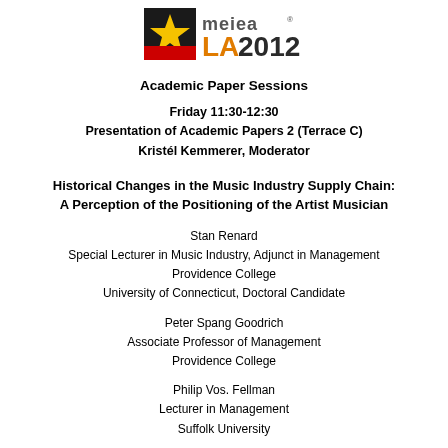[Figure (logo): MEIEA LA 2012 logo with academic paper sessions text]
Academic Paper Sessions
Friday 11:30-12:30
Presentation of Academic Papers 2 (Terrace C)
Kristél Kemmerer, Moderator
Historical Changes in the Music Industry Supply Chain: A Perception of the Positioning of the Artist Musician
Stan Renard
Special Lecturer in Music Industry, Adjunct in Management
Providence College
University of Connecticut, Doctoral Candidate
Peter Spang Goodrich
Associate Professor of Management
Providence College
Philip Vos. Fellman
Lecturer in Management
Suffolk University
Abstract
The present study will explore the historical changes of